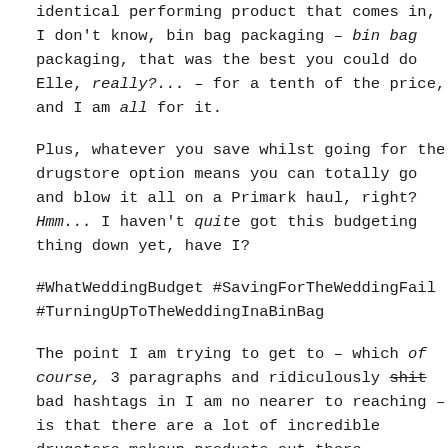identical performing product that comes in, I don't know, bin bag packaging – bin bag packaging, that was the best you could do Elle, really?... – for a tenth of the price, and I am all for it.
Plus, whatever you save whilst going for the drugstore option means you can totally go and blow it all on a Primark haul, right? Hmm... I haven't quite got this budgeting thing down yet, have I?
#WhatWeddingBudget #SavingForTheWeddingFail #TurningUpToTheWeddingInaBinBag
The point I am trying to get to – which of course, 3 paragraphs and ridiculously shit bad hashtags in I am no nearer to reaching – is that there are a lot of incredible drugstore makeup products out there.